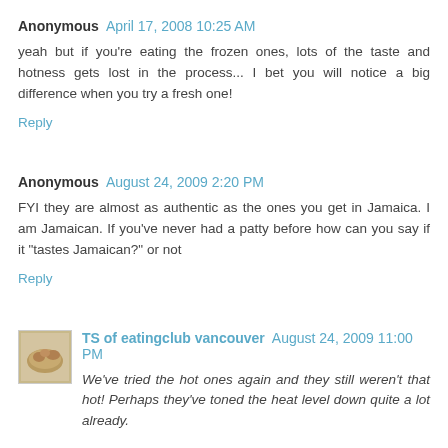Anonymous  April 17, 2008 10:25 AM
yeah but if you're eating the frozen ones, lots of the taste and hotness gets lost in the process... I bet you will notice a big difference when you try a fresh one!
Reply
Anonymous  August 24, 2009 2:20 PM
FYI they are almost as authentic as the ones you get in Jamaica. I am Jamaican. If you've never had a patty before how can you say if it "tastes Jamaican?" or not
Reply
TS of eatingclub vancouver  August 24, 2009 11:00 PM
We've tried the hot ones again and they still weren't that hot! Perhaps they've toned the heat level down quite a lot already.